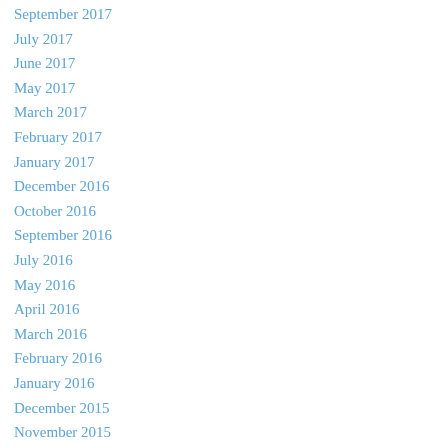September 2017
July 2017
June 2017
May 2017
March 2017
February 2017
January 2017
December 2016
October 2016
September 2016
July 2016
May 2016
April 2016
March 2016
February 2016
January 2016
December 2015
November 2015
October 2015
September 2015